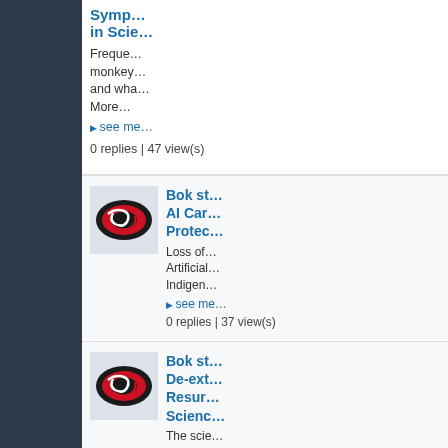Symp... in Scie...
Frequent... monkey... and wha... More...
▶ see me...
0 replies | 47 view(s)
[Figure (logo): Carolina Hurricanes logo - black oval with red swirl]
Bok st... AI Car... Protec...
Loss of... Artificial... Indigen...
▶ see me...
0 replies | 37 view(s)
[Figure (logo): Carolina Hurricanes logo - black oval with red swirl]
Bok st... De-ext... Resur... Scienc...
The scie... mammo...